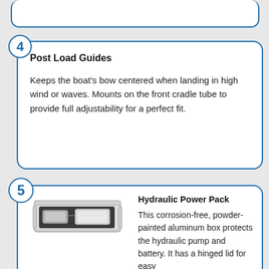4 Post Load Guides — Keeps the boat's bow centered when landing in high wind or waves. Mounts on the front cradle tube to provide full adjustability for a perfect fit.
5 Hydraulic Power Pack — This corrosion-free, powder-painted aluminum box protects the hydraulic pump and battery. It has a hinged lid for easy